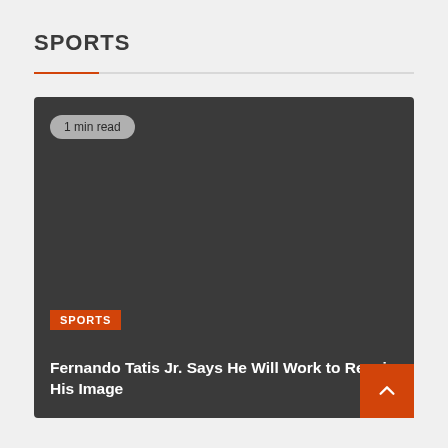SPORTS
[Figure (photo): Dark grey card image background with a '1 min read' badge in the top left, a SPORTS category tag near the bottom left, and an article headline below it. An orange back-to-top button appears in the bottom right corner.]
Fernando Tatis Jr. Says He Will Work to Repair His Image